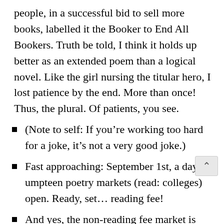people, in a successful bid to sell more books, labelled it the Booker to End All Bookers. Truth be told, I think it holds up better as an extended poem than a logical novel. Like the girl nursing the titular hero, I lost patience by the end. More than once! Thus, the plural. Of patients, you see.
(Note to self: If you’re working too hard for a joke, it’s not a very good joke.)
Fast approaching: September 1st, a day umpteen poetry markets (read: colleges) open. Ready, set… reading fee!
And yes, the non-reading fee market is